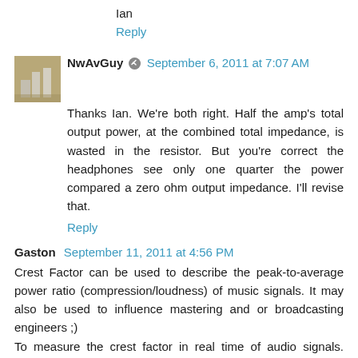Ian
Reply
NwAvGuy  September 6, 2011 at 7:07 AM
Thanks Ian. We're both right. Half the amp's total output power, at the combined total impedance, is wasted in the resistor. But you're correct the headphones see only one quarter the power compared a zero ohm output impedance. I'll revise that.
Reply
Gaston  September 11, 2011 at 4:56 PM
Crest Factor can be used to describe the peak-to-average power ratio (compression/loudness) of music signals. It may also be used to influence mastering and or broadcasting engineers ;)
To measure the crest factor in real time of audio signals. Freeware. http://www.tolvan.com/crest